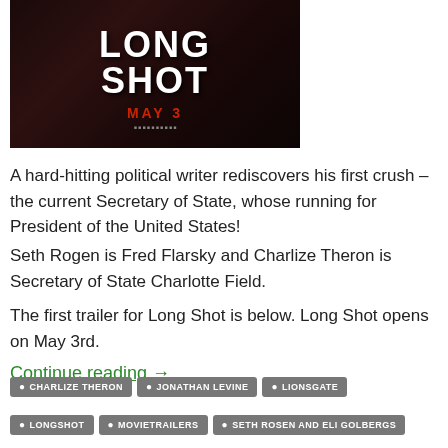[Figure (photo): Movie poster for 'Long Shot' showing white bold text 'LONG SHOT' on dark/red background with 'MAY 3' in red text below]
A hard-hitting political writer rediscovers his first crush – the current Secretary of State, whose running for President of the United States!
Seth Rogen is Fred Flarsky and Charlize Theron is Secretary of State Charlotte Field.
The first trailer for Long Shot is below. Long Shot opens on May 3rd.
Continue reading →
CHARLIZE THERON
JONATHAN LEVINE
LIONSGATE
LONGSHOT
MOVIETRAILERS
SETH ROSEN AND ELI GOLBERGS